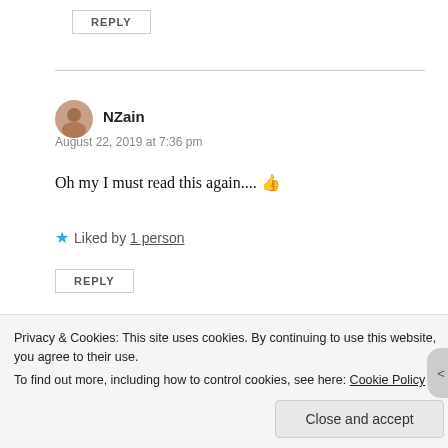REPLY
NZain
August 22, 2019 at 7:36 pm
Oh my I must read this again.... 👍
★ Liked by 1 person
REPLY
Watt...
Privacy & Cookies: This site uses cookies. By continuing to use this website, you agree to their use.
To find out more, including how to control cookies, see here: Cookie Policy
Close and accept